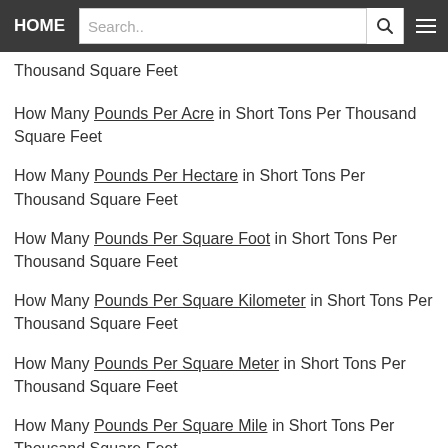HOME | Search..
Thousand Square Feet
How Many Pounds Per Acre in Short Tons Per Thousand Square Feet
How Many Pounds Per Hectare in Short Tons Per Thousand Square Feet
How Many Pounds Per Square Foot in Short Tons Per Thousand Square Feet
How Many Pounds Per Square Kilometer in Short Tons Per Thousand Square Feet
How Many Pounds Per Square Meter in Short Tons Per Thousand Square Feet
How Many Pounds Per Square Mile in Short Tons Per Thousand Square Feet